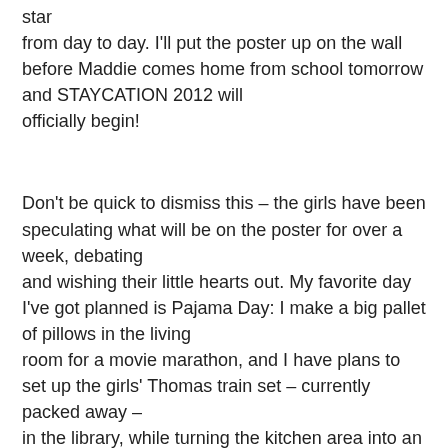star from day to day. I'll put the poster up on the wall before Maddie comes home from school tomorrow and STAYCATION 2012 will officially begin!
Don't be quick to dismiss this – the girls have been speculating what will be on the poster for over a week, debating and wishing their little hearts out. My favorite day I've got planned is Pajama Day: I make a big pallet of pillows in the living room for a movie marathon, and I have plans to set up the girls' Thomas train set – currently packed away – in the library, while turning the kitchen area into an art room. It will be spectacular, I tell you.
As much as the kids are looking forward to this, though, I am chomping at the bit even more. Can't wait to have my babies